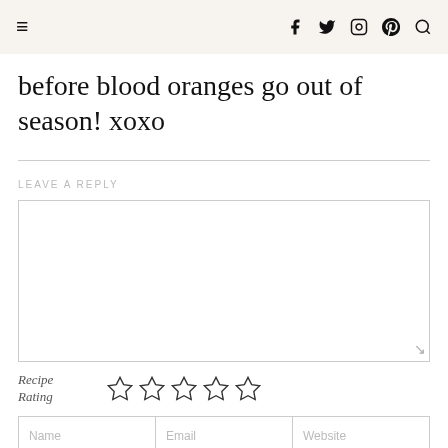☰  f  𝐲  ⊙  𝐩  🔍
before blood oranges go out of season! xoxo
LEAVE A REPLY
[comment text area]
Recipe Rating ☆☆☆☆☆
| Name | Email | Website |
| --- | --- | --- |
|  |  |  |